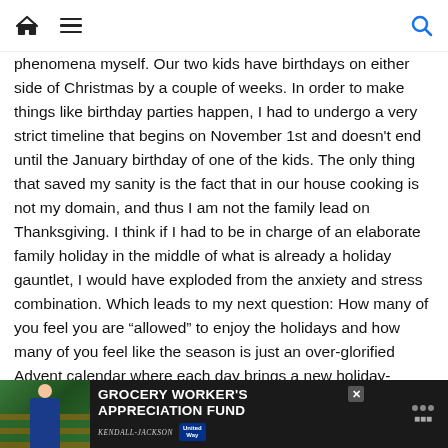[home icon] [menu icon] [search icon]
phenomena myself. Our two kids have birthdays on either side of Christmas by a couple of weeks. In order to make things like birthday parties happen, I had to undergo a very strict timeline that begins on November 1st and doesn't end until the January birthday of one of the kids. The only thing that saved my sanity is the fact that in our house cooking is not my domain, and thus I am not the family lead on Thanksgiving. I think if I had to be in charge of an elaborate family holiday in the middle of what is already a holiday gauntlet, I would have exploded from the anxiety and stress combination. Which leads to my next question: How many of you feel you are “allowed” to enjoy the holidays and how many of you feel like the season is just an over-glorified Advent calendar where each day brings a new holiday-related stressor?
I get a feeling a lot of parents are feeling like they got the Advent cale…
[Figure (photo): Advertisement banner: GROCERY WORKER'S APPRECIATION FUND with Kendall Jackson and United Way logos, dark background with grocery store photo showing person]